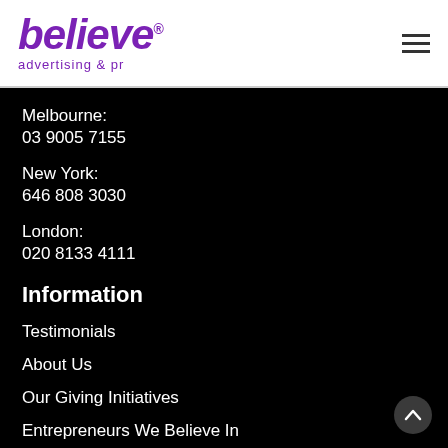believe advertising & pr
Melbourne:
03 9005 7155
New York:
646 808 3030
London:
020 8133 4111
Information
Testimonials
About Us
Our Giving Initiatives
Entrepreneurs We Believe In
Believe – The Book